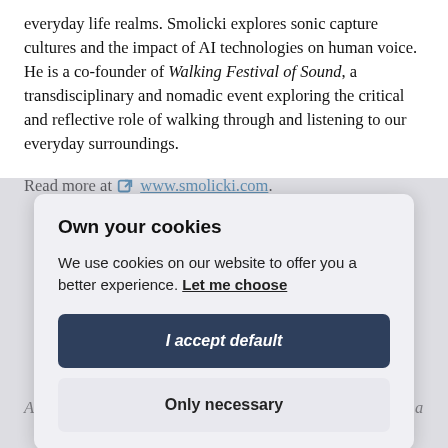everyday life realms. Smolicki explores sonic capture cultures and the impact of AI technologies on human voice. He is a co-founder of Walking Festival of Sound, a transdisciplinary and nomadic event exploring the critical and reflective role of walking through and listening to our everyday surroundings.
Read more at www.smolicki.com.
Own your cookies
We use cookies on our website to offer you a better experience. Let me choose
I accept default
Only necessary
Absences of the Rural Past in Vancouver, Seismograf Feel, a